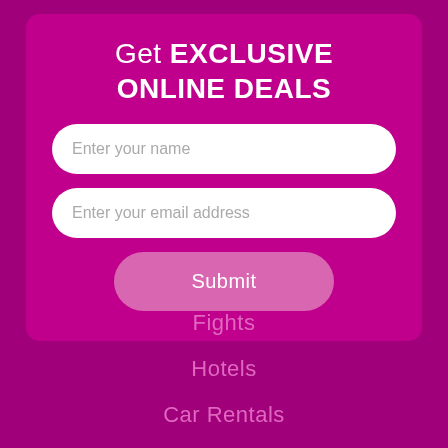Get EXCLUSIVE ONLINE DEALS
Enter your name
Enter your email address
Submit
Fights
Hotels
Car Rentals
Cruises
Vacation Rentals